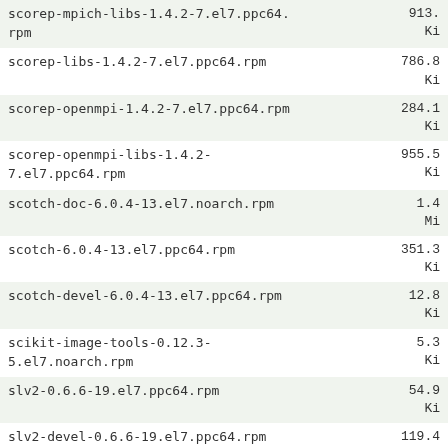| Package | Size |
| --- | --- |
| scorep-mpich-libs-1.4.2-7.el7.ppc64.rpm | 913. Ki |
| scorep-libs-1.4.2-7.el7.ppc64.rpm | 786.8 Ki |
| scorep-openmpi-1.4.2-7.el7.ppc64.rpm | 284.1 Ki |
| scorep-openmpi-libs-1.4.2-7.el7.ppc64.rpm | 955.5 Ki |
| scotch-doc-6.0.4-13.el7.noarch.rpm | 1.4 Mi |
| scotch-6.0.4-13.el7.ppc64.rpm | 351.3 Ki |
| scotch-devel-6.0.4-13.el7.ppc64.rpm | 12.8 Ki |
| scikit-image-tools-0.12.3-5.el7.noarch.rpm | 5.3 Ki |
| slv2-0.6.6-19.el7.ppc64.rpm | 54.9 Ki |
| slv2-devel-0.6.6-19.el7.ppc64.rpm | 119.4 Ki |
| sks-1.1.6-1.el7.ppc64.rpm | 714.6 Ki |
| sddm-themes-0.14.0-3.el7.noarch.rpm | 2.7 Mi |
| sddm-0.14.0-3.el7.ppc64.rpm | 621.2 Ki |
| snapraid-10.0-1.el7.ppc64.rpm | 281.9 |